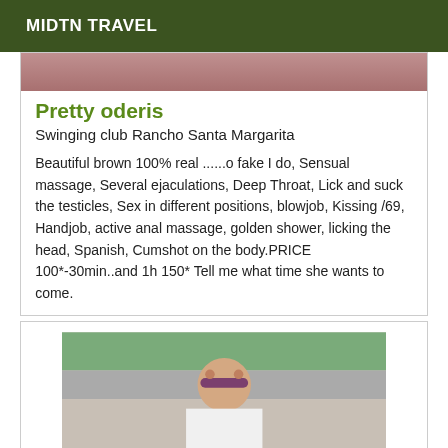MIDTN TRAVEL
[Figure (photo): Partial image strip at top of listing card, brownish-pink background]
Pretty oderis
Swinging club Rancho Santa Margarita
Beautiful brown 100% real ......o fake I do, Sensual massage, Several ejaculations, Deep Throat, Lick and suck the testicles, Sex in different positions, blowjob, Kissing /69, Handjob, active anal massage, golden shower, licking the head, Spanish, Cumshot on the body.PRICE 100*-30min..and 1h 150* Tell me what time she wants to come.
[Figure (photo): Photo of a woman with long dark hair wearing a floral headband and white top, standing near a pool area with lounge chairs and greenery in the background]